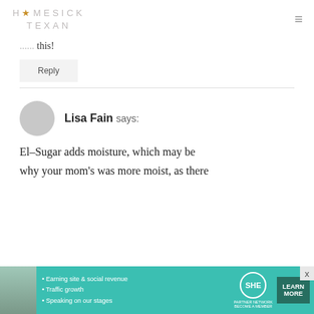HOMESICK TEXAN
...this!
Reply
Lisa Fain says:
El–Sugar adds moisture, which may be why your mom's was more moist, as there
[Figure (infographic): SHE Partner Network advertisement banner with bullet points: Earning site & social revenue, Traffic growth, Speaking on our stages. Shows LEARN MORE button.]